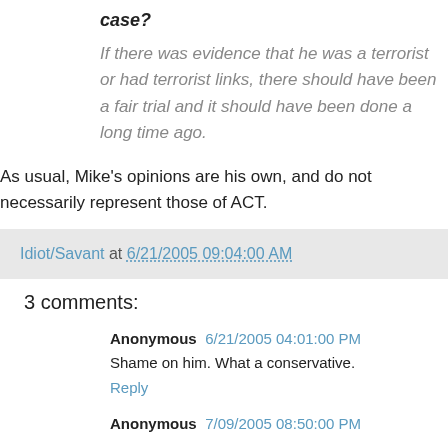case?
If there was evidence that he was a terrorist or had terrorist links, there should have been a fair trial and it should have been done a long time ago.
As usual, Mike's opinions are his own, and do not necessarily represent those of ACT.
Idiot/Savant at 6/21/2005 09:04:00 AM
3 comments:
Anonymous 6/21/2005 04:01:00 PM
Shame on him. What a conservative.
Reply
Anonymous 7/09/2005 08:50:00 PM